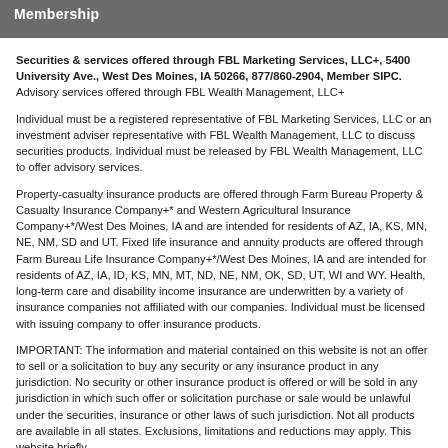Membership
Securities & services offered through FBL Marketing Services, LLC+, 5400 University Ave., West Des Moines, IA 50266, 877/860-2904, Member SIPC. Advisory services offered through FBL Wealth Management, LLC+
Individual must be a registered representative of FBL Marketing Services, LLC or an investment adviser representative with FBL Wealth Management, LLC to discuss securities products. Individual must be released by FBL Wealth Management, LLC to offer advisory services.
Property-casualty insurance products are offered through Farm Bureau Property & Casualty Insurance Company+* and Western Agricultural Insurance Company+*/West Des Moines, IA and are intended for residents of AZ, IA, KS, MN, NE, NM, SD and UT. Fixed life insurance and annuity products are offered through Farm Bureau Life Insurance Company+*/West Des Moines, IA and are intended for residents of AZ, IA, ID, KS, MN, MT, ND, NE, NM, OK, SD, UT, WI and WY. Health, long-term care and disability income insurance are underwritten by a variety of insurance companies not affiliated with our companies. Individual must be licensed with issuing company to offer insurance products.
IMPORTANT: The information and material contained on this website is not an offer to sell or a solicitation to buy any security or any insurance product in any jurisdiction. No security or other insurance product is offered or will be sold in any jurisdiction in which such offer or solicitation purchase or sale would be unlawful under the securities, insurance or other laws of such jurisdiction. Not all products are available in all states. Exclusions, limitations and reductions may apply. This website briefly